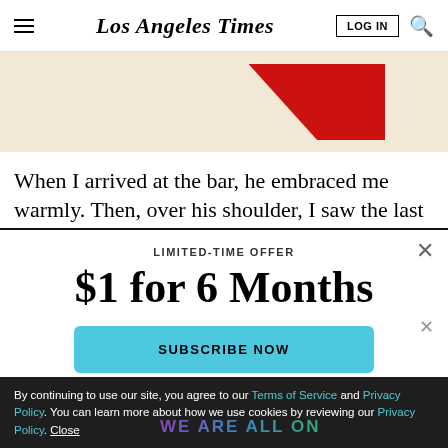Los Angeles Times — LOG IN [search]
[Figure (illustration): Partial advertisement banner with beige/cream background and red diagonal stripe, cropped at top of page.]
When I arrived at the bar, he embraced me warmly. Then, over his shoulder, I saw the last person I slept
LIMITED-TIME OFFER
$1 for 6 Months
SUBSCRIBE NOW
By continuing to use our site, you agree to our Terms of Service and Privacy Policy. You can learn more about how we use cookies by reviewing our Privacy Policy. Close